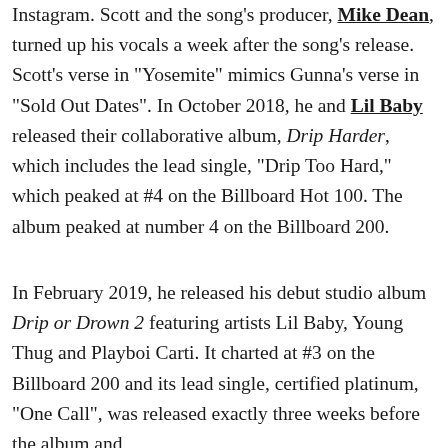Instagram. Scott and the song's producer, Mike Dean, turned up his vocals a week after the song's release. Scott's verse in "Yosemite" mimics Gunna's verse in "Sold Out Dates". In October 2018, he and Lil Baby released their collaborative album, Drip Harder, which includes the lead single, "Drip Too Hard," which peaked at #4 on the Billboard Hot 100. The album peaked at number 4 on the Billboard 200.
In February 2019, he released his debut studio album Drip or Drown 2 featuring artists Lil Baby, Young Thug and Playboi Carti. It charted at #3 on the Billboard 200 and its lead single, certified platinum, "One Call", was released exactly three weeks before the album and